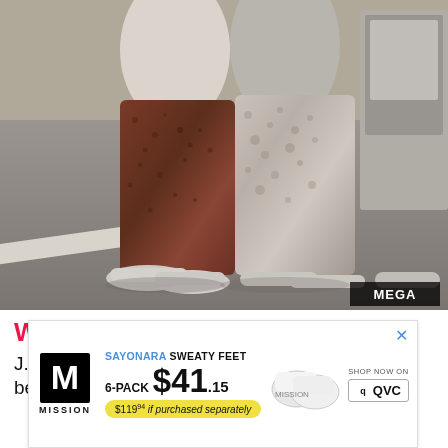[Figure (photo): Two people walking side by side on a street/sidewalk, showing from waist down. Left person wears wide-leg brown patterned pants and white sneakers; right person wears wide-leg light grey/white patterned pants and neutral shoes. A car is visible at upper right. Photo credit: MEGA]
WHERE TO NEXT?
J. Lo probably has more fun plans for her kids before they head back to school
[Figure (other): Advertisement for Mission brand socks. SAYONARA SWEATY FEET. 6-PACK $41.15. $119.94 if purchased separately. Shop now on QVC. Shows white no-show socks.]